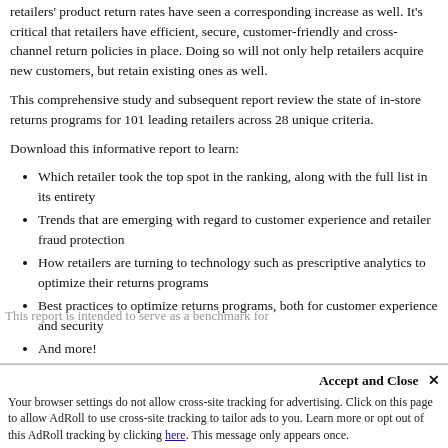retailers' product return rates have seen a corresponding increase as well. It's critical that retailers have efficient, secure, customer-friendly and cross-channel return policies in place. Doing so will not only help retailers acquire new customers, but retain existing ones as well.
This comprehensive study and subsequent report review the state of in-store returns programs for 101 leading retailers across 28 unique criteria.
Download this informative report to learn:
Which retailer took the top spot in the ranking, along with the full list in its entirety
Trends that are emerging with regard to customer experience and retailer fraud protection
How retailers are turning to technology such as prescriptive analytics to optimize their returns programs
Best practices to optimize returns programs, both for customer experience and security
And more!
This report is intended to serve as a benchmark for...
Accept and Close ×
Your browser settings do not allow cross-site tracking for advertising. Click on this page to allow AdRoll to use cross-site tracking to tailor ads to you. Learn more or opt out of this AdRoll tracking by clicking here. This message only appears once.